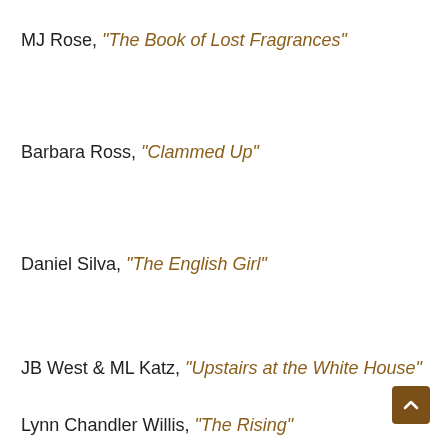MJ Rose, “The Book of Lost Fragrances”
Barbara Ross, “Clammed Up”
Daniel Silva, “The English Girl”
JB West & ML Katz, “Upstairs at the White House”
Lynn Chandler Willis, “The Rising”